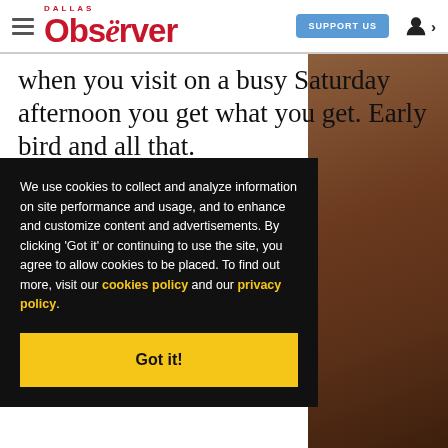Dallas Observer — SUPPORT US
when you visit on a busy Saturday afternoon you get what you get. Early bird and all that.
We use cookies to collect and analyze information on site performance and usage, and to enhance and customize content and advertisements. By clicking 'Got it' or continuing to use the site, you agree to allow cookies to be placed. To find out more, visit our cookies policy and our privacy policy.
Got it!